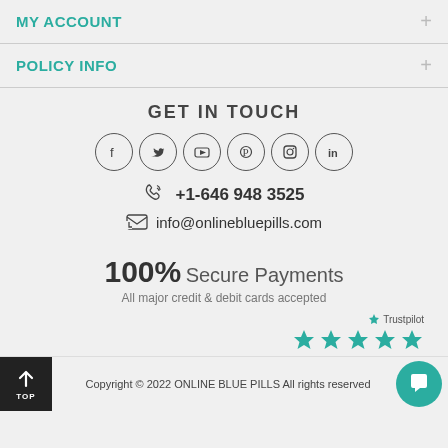MY ACCOUNT
POLICY INFO
GET IN TOUCH
[Figure (infographic): Six social media icon circles: Facebook, Twitter, YouTube, Pinterest, Instagram, LinkedIn]
+1-646 948 3525
info@onlinebluepills.com
100% Secure Payments
All major credit & debit cards accepted
[Figure (logo): Trustpilot logo with 5 green stars]
Copyright © 2022 ONLINE BLUE PILLS All rights reserved